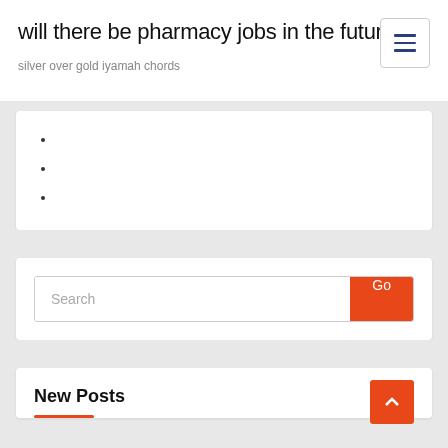will there be pharmacy jobs in the future
silver over gold iyamah chords
Search
New Posts